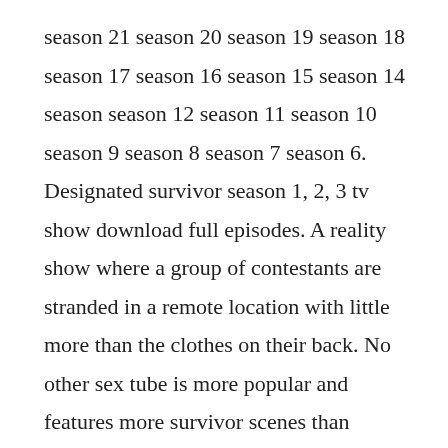season 21 season 20 season 19 season 18 season 17 season 16 season 15 season 14 season season 12 season 11 season 10 season 9 season 8 season 7 season 6. Designated survivor season 1, 2, 3 tv show download full episodes. A reality show where a group of contestants are stranded in a remote location with little more than the clothes on their back. No other sex tube is more popular and features more survivor scenes than pornhub. X and will feature 20 castaways who will be separated by generation and forced to compete